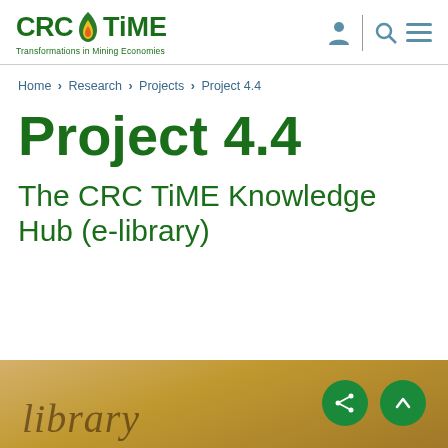[Figure (logo): CRC TiME logo with flame icon and tagline 'Transformations in Mining Economies']
Home > Research > Projects > Project 4.4
Project 4.4
The CRC TiME Knowledge Hub (e-library)
[Figure (photo): Close-up photo of a library sign with cursive text, warm brown/golden tones]